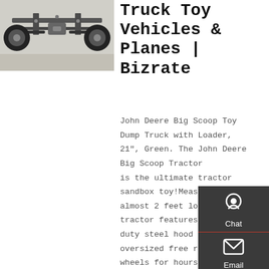[Figure (photo): Underside/undercarriage view of a truck toy vehicle, showing axles, wheels, and chassis from below]
Truck Toy Vehicles & Planes | Bizrate
John Deere Big Scoop Toy Dump Truck with Loader, 21", Green. The John Deere Big Scoop Tractor is the ultimate tractor sandbox toy!Measuring almost 2 feet long, this tractor features a heavy duty steel hood and oversized free rolling wheels for hours of action packed play.